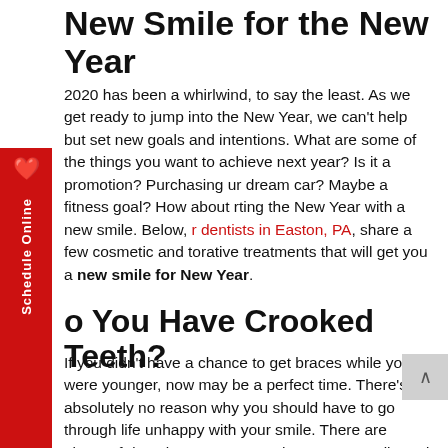New Smile for the New Year
2020 has been a whirlwind, to say the least. As we get ready to jump into the New Year, we can't help but set new goals and intentions. What are some of the things you want to achieve next year? Is it a promotion? Purchasing your dream car? Maybe a fitness goal? How about starting the New Year with a new smile. Below, our dentists in Easton, PA, share a few cosmetic and restorative treatments that will get you a new smile for the New Year.
Do You Have Crooked Teeth?
If you didn't have a chance to get braces while you were younger, now may be a perfect time. There's absolutely no reason why you should have to go through life unhappy with your smile. There are plenty of dental treatments that can enhance your smile and hide your flaws. You may be thinking that you're too old for braces. Some people may